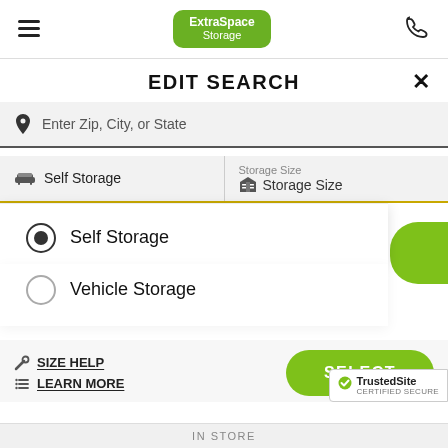[Figure (screenshot): Extra Space Storage mobile website header with hamburger menu, logo badge, and phone icon]
EDIT SEARCH
Enter Zip, City, or State
Self Storage | Storage Size / Storage Size
Self Storage (selected radio button)
Vehicle Storage
SIZE HELP
LEARN MORE
SELECT
[Figure (logo): TrustedSite Certified Secure badge]
IN STORE